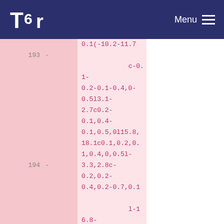Tor Menu
0.1(-10.2-11.7
193 -
c-0.1-0.2-0.1-0.4,0-0.5l3.1-2.7c0.2-0.1,0.4-0.1,0.5,0l15.8,18.1c0.1,0.2,0.1,0.4,0,0.5l-3.3,2.8c-0.2,0.2-0.4,0.2-0.7,0.1
194 -
l-16.8-6l-0.1,0.1l10.2,11.7c0.1,0.2,0.1,